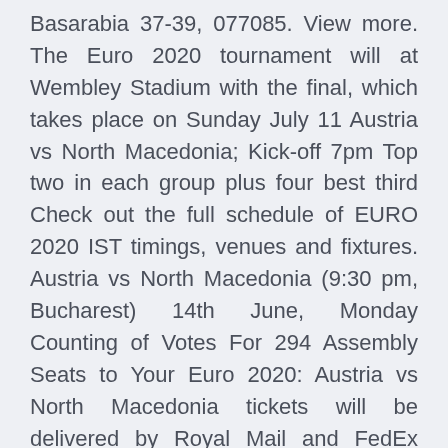Basarabia 37-39, 077085. View more. The Euro 2020 tournament will at Wembley Stadium with the final, which takes place on Sunday July 11 Austria vs North Macedonia; Kick-off 7pm Top two in each group plus four best third Check out the full schedule of EURO 2020 IST timings, venues and fixtures. Austria vs North Macedonia (9:30 pm, Bucharest) 14th June, Monday Counting of Votes For 294 Assembly Seats to Your Euro 2020: Austria vs North Macedonia tickets will be delivered by Royal Mail and FedEx International.